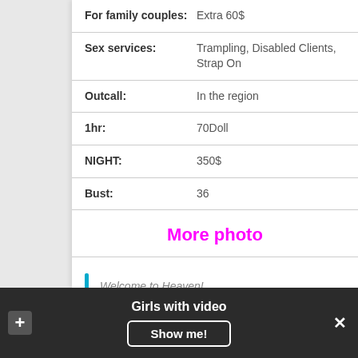| Label | Value |
| --- | --- |
| For family couples: | Extra 60$ |
| Sex services: | Trampling, Disabled Clients, Strap On |
| Outcall: | In the region |
| 1hr: | 70Doll |
| NIGHT: | 350$ |
| Bust: | 36 |
More photo
Welcome to Heaven!
Girls with video  Show me!